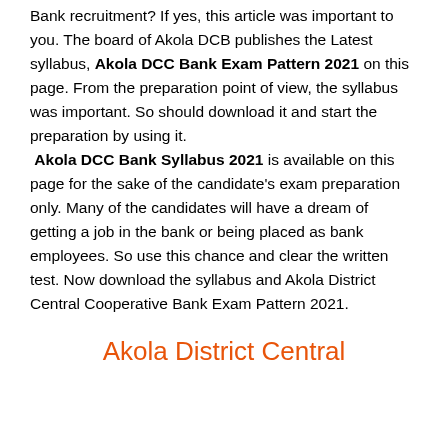Bank recruitment? If yes, this article was important to you. The board of Akola DCB publishes the Latest syllabus, Akola DCC Bank Exam Pattern 2021 on this page. From the preparation point of view, the syllabus was important. So should download it and start the preparation by using it. Akola DCC Bank Syllabus 2021 is available on this page for the sake of the candidate's exam preparation only. Many of the candidates will have a dream of getting a job in the bank or being placed as bank employees. So use this chance and clear the written test. Now download the syllabus and Akola District Central Cooperative Bank Exam Pattern 2021.
Akola District Central